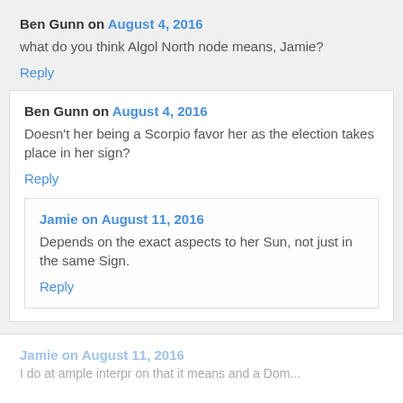Ben Gunn on August 4, 2016
what do you think Algol North node means, Jamie?
Reply
Ben Gunn on August 4, 2016
Doesn't her being a Scorpio favor her as the election takes place in her sign?
Reply
Jamie on August 11, 2016
Depends on the exact aspects to her Sun, not just in the same Sign.
Reply
Jamie on August 11, 2016
I do at ample interpr on that it means and a Dom...